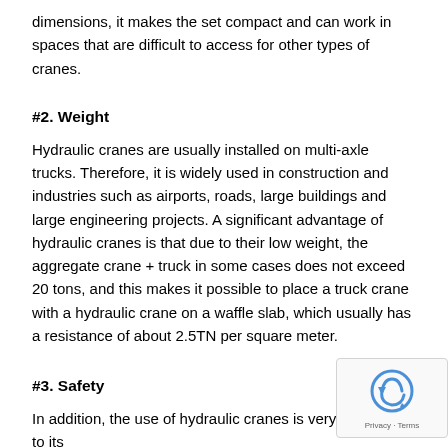dimensions, it makes the set compact and can work in spaces that are difficult to access for other types of cranes.
#2. Weight
Hydraulic cranes are usually installed on multi-axle trucks. Therefore, it is widely used in construction and industries such as airports, roads, large buildings and large engineering projects. A significant advantage of hydraulic cranes is that due to their low weight, the aggregate crane + truck in some cases does not exceed 20 tons, and this makes it possible to place a truck crane with a hydraulic crane on a waffle slab, which usually has a resistance of about 2.5TN per square meter.
#3. Safety
In addition, the use of hydraulic cranes is very safe. Due to its